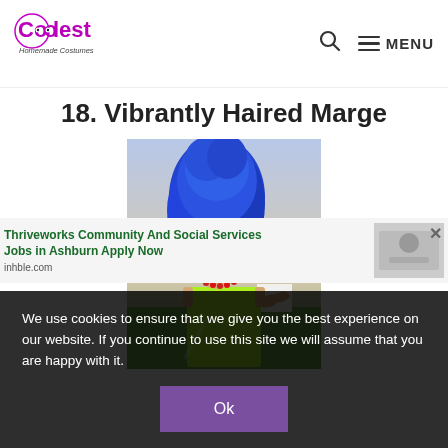Coolest Homemade Costumes — MENU
18. Vibrantly Haired Marge
[Figure (photo): Woman dressed as Marge Simpson wearing a tall blue wig, novelty glasses, red bead necklace, and strapless neon green dress, standing outdoors on grass with a twilight sky background. Watermark reads www.coolest-ho...]
We use cookies to ensure that we give you the best experience on our website. If you continue to use this site we will assume that you are happy with it.
Ok
Thriveworks Community And Social Services Jobs in Ashburn Apply Now
inhble.com